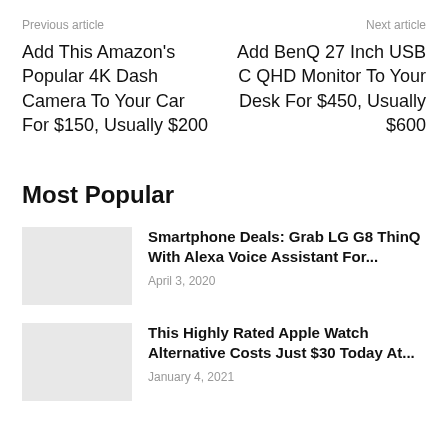Previous article
Next article
Add This Amazon's Popular 4K Dash Camera To Your Car For $150, Usually $200
Add BenQ 27 Inch USB C QHD Monitor To Your Desk For $450, Usually $600
Most Popular
Smartphone Deals: Grab LG G8 ThinQ With Alexa Voice Assistant For... April 3, 2020
This Highly Rated Apple Watch Alternative Costs Just $30 Today At... January 4, 2021